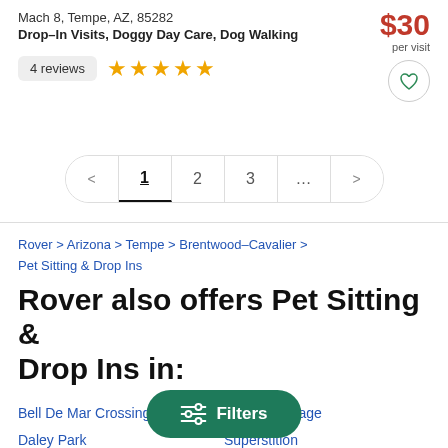Mach 8, Tempe, AZ, 85282
Drop-In Visits, Doggy Day Care, Dog Walking
$30 per visit
4 reviews ★★★★★
[Figure (other): Heart/favorite button icon in teal outline]
< 1 2 3 ... >
Rover > Arizona > Tempe > Brentwood–Cavalier > Pet Sitting & Drop Ins
Rover also offers Pet Sitting & Drop Ins in:
Bell De Mar Crossing
Camelot Village
Daley Park
Hudson Manor
Superstition
Meyer Park
Mitchell Park West
Peterson Park
Superstition